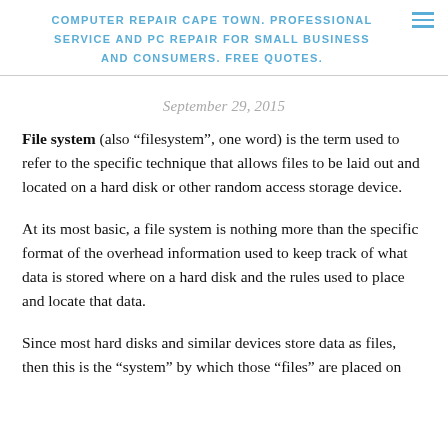COMPUTER REPAIR CAPE TOWN. PROFESSIONAL SERVICE AND PC REPAIR FOR SMALL BUSINESS AND CONSUMERS. FREE QUOTES.
September 29, 2015
File system (also “filesystem”, one word) is the term used to refer to the specific technique that allows files to be laid out and located on a hard disk or other random access storage device.
At its most basic, a file system is nothing more than the specific format of the overhead information used to keep track of what data is stored where on a hard disk and the rules used to place and locate that data.
Since most hard disks and similar devices store data as files, then this is the “system” by which those “files” are placed on